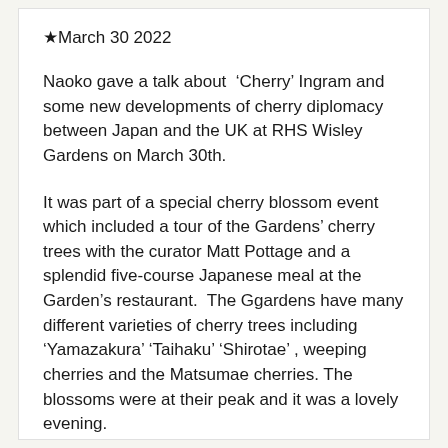★March 30 2022
Naoko gave a talk about  'Cherry' Ingram and some new developments of cherry diplomacy between Japan and the UK at RHS Wisley Gardens on March 30th.
It was part of a special cherry blossom event which included a tour of the Gardens' cherry trees with the curator Matt Pottage and a splendid five-course Japanese meal at the Garden's restaurant.  The Ggardens have many different varieties of cherry trees including 'Yamazakura' 'Taihaku' 'Shirotae' , weeping cherries and the Matsumae cherries. The blossoms were at their peak and it was a lovely evening.